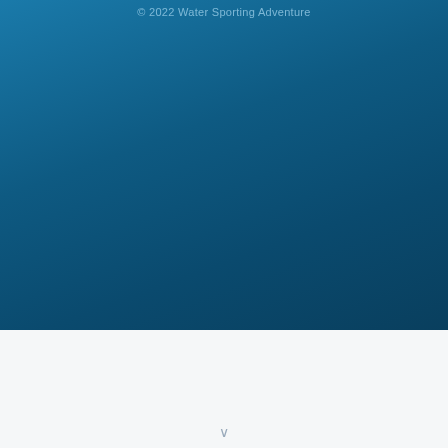[Figure (illustration): Full-width blue gradient background covering approximately the top 74% of the page, transitioning from medium-light blue at top to deep teal-blue at bottom.]
© 2022 Water Sporting Adventure
[Figure (illustration): Light gray-white section occupying the bottom portion of the page below the blue gradient area.]
∨